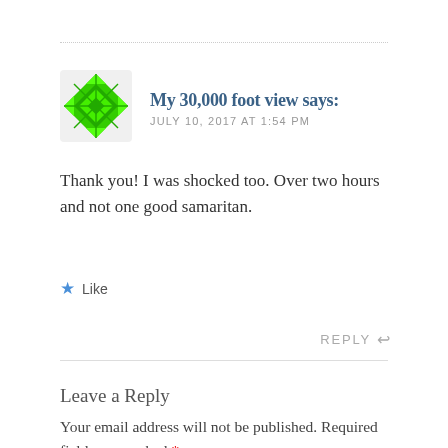[Figure (illustration): Green geometric quilt-pattern avatar icon for blog commenter 'My 30,000 foot view']
My 30,000 foot view says:
JULY 10, 2017 AT 1:54 PM
Thank you! I was shocked too. Over two hours and not one good samaritan.
Like
REPLY
Leave a Reply
Your email address will not be published. Required fields are marked *